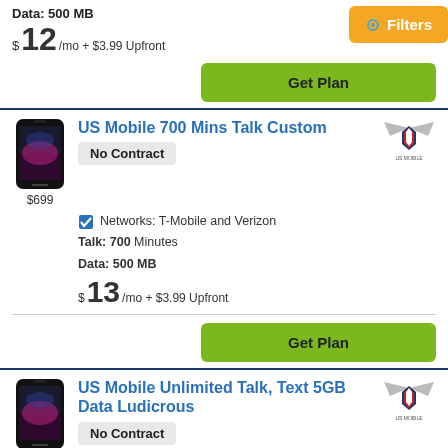Data: 500 MB
$ 12 /mo + $3.99 Upfront
Filters
Get Plan
US Mobile 700 Mins Talk Custom
No Contract
Networks: T-Mobile and Verizon
Talk: 700 Minutes
Data: 500 MB
$ 13 /mo + $3.99 Upfront
Get Plan
US Mobile Unlimited Talk, Text 5GB Data Ludicrous
No Contract